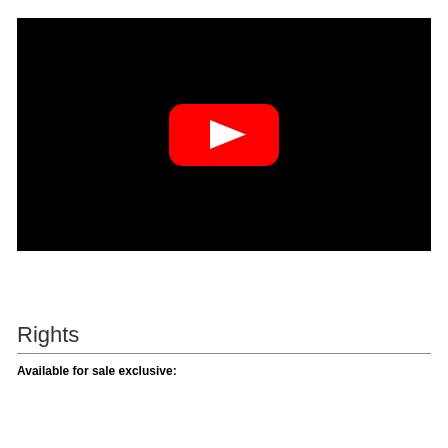[Figure (screenshot): Black video player with YouTube play button (red rounded rectangle with white triangle) in the center]
Rights
Available for sale exclusive: